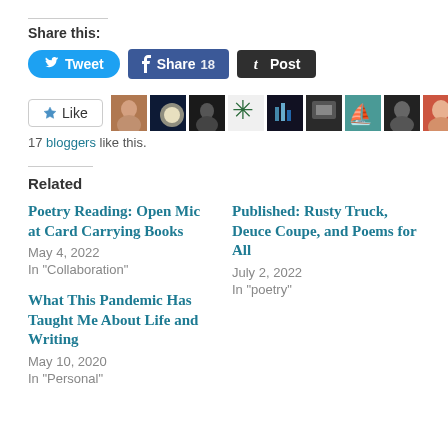Share this:
Tweet  Share 18  Post
[Figure (other): Like button with star icon and 9 blogger avatar thumbnails]
17 bloggers like this.
Related
Poetry Reading: Open Mic at Card Carrying Books
May 4, 2022
In "Collaboration"
Published: Rusty Truck, Deuce Coupe, and Poems for All
July 2, 2022
In "poetry"
What This Pandemic Has Taught Me About Life and Writing
May 10, 2020
In "Personal"